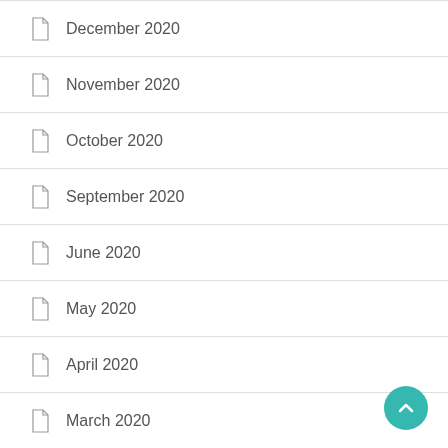December 2020
November 2020
October 2020
September 2020
June 2020
May 2020
April 2020
March 2020
February 2020
January 2020
December 2019